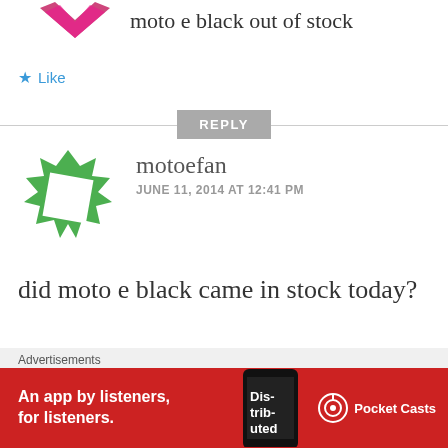moto e black out of stock
Like
REPLY
[Figure (illustration): Green geometric/crystalline avatar icon for user motoefan]
motoefan
JUNE 11, 2014 AT 12:41 PM
did moto e black came in stock today?
Like
Advertisements
[Figure (screenshot): Pocket Casts advertisement banner - red background with text 'An app by listeners, for listeners.' and Pocket Casts logo]